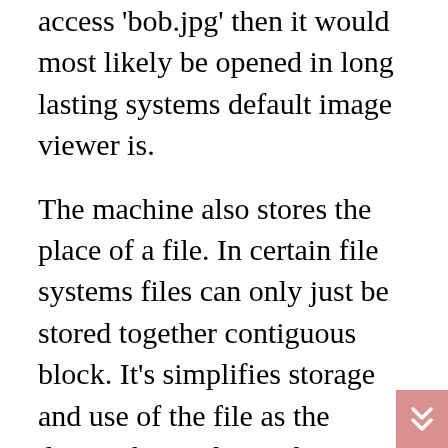access 'bob.jpg' then it would most likely be opened in long lasting systems default image viewer is.
The machine also stores the place of a file. In certain file systems files can only just be stored together contiguous block. It's simplifies storage and use of the file as the device then only needs to learn where the file begins on the disk and how large it is. It will however cause complications if the file is to be extended or removed as there may not be room enough available to fit the larger version of the file